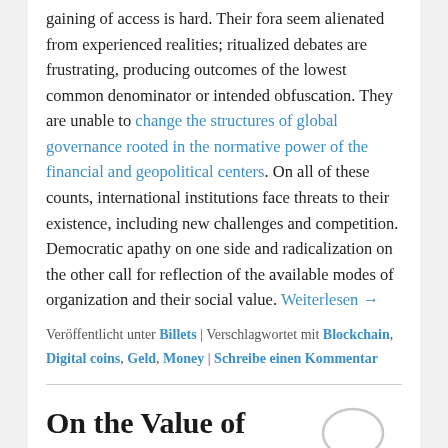gaining of access is hard. Their fora seem alienated from experienced realities; ritualized debates are frustrating, producing outcomes of the lowest common denominator or intended obfuscation. They are unable to change the structures of global governance rooted in the normative power of the financial and geopolitical centers. On all of these counts, international institutions face threats to their existence, including new challenges and competition. Democratic apathy on one side and radicalization on the other call for reflection of the available modes of organization and their social value. Weiterlesen →
Veröffentlicht unter Billets | Verschlagwortet mit Blockchain, Digital coins, Geld, Money | Schreibe einen Kommentar
On the Value of Human Rights
Veröffentlicht am 24/04/2020 von isabelfeichtner